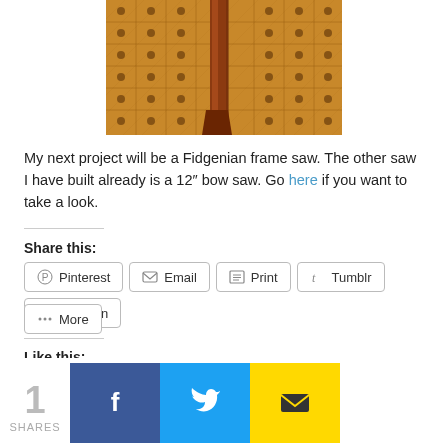[Figure (photo): Close-up photo of a wooden workbench surface with a wooden leg/frame visible, showing a grid of holes in the wood.]
My next project will be a Fidgenian frame saw. The other saw I have built already is a 12″ bow saw. Go here if you want to take a look.
Share this:
Pinterest  Email  Print  Tumblr  LinkedIn  More
Like this:
Loading...
1 SHARES